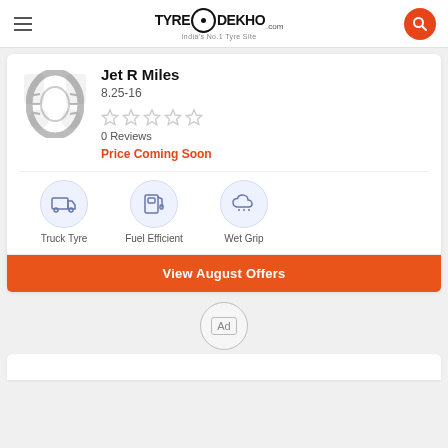TyreDekho.com — India's No.1 Tyre Site
[Figure (logo): TyreDekho.com logo with tyre icon and tagline 'India's No.1 Tyre Site']
Jet R Miles
8.25-16
0 Reviews
Price Coming Soon
Truck Tyre
Fuel Efficient
Wet Grip
View August Offers
Ad